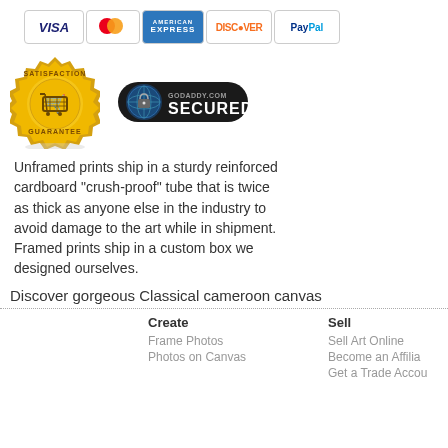[Figure (logo): Payment method icons: VISA, Mastercard, American Express, Discover, PayPal]
[Figure (logo): Satisfaction Guarantee badge (gold seal with shopping cart) and GoDaddy.com Secured badge]
Unframed prints ship in a sturdy reinforced cardboard "crush-proof" tube that is twice as thick as anyone else in the industry to avoid damage to the art while in shipment. Framed prints ship in a custom box we designed ourselves.
Discover gorgeous Classical cameroon canvas
Create
Frame Photos
Photos on Canvas
Sell
Sell Art Online
Become an Affilia
Get a Trade Accou